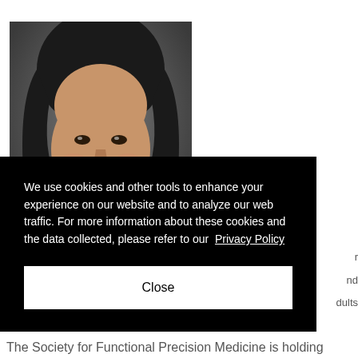[Figure (photo): Headshot photo of a smiling Asian woman with long dark hair against a dark gray background]
We use cookies and other tools to enhance your experience on our website and to analyze our web traffic. For more information about these cookies and the data collected, please refer to our Privacy Policy
Close
The Society for Functional Precision Medicine is holding